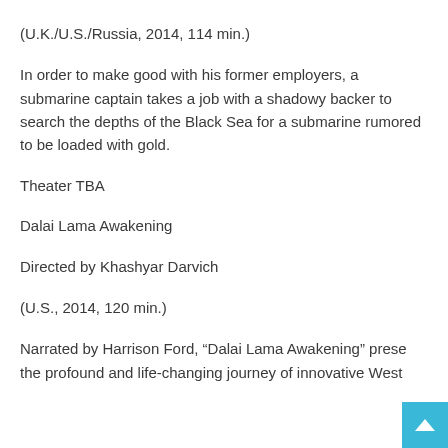(U.K./U.S./Russia, 2014, 114 min.)
In order to make good with his former employers, a submarine captain takes a job with a shadowy backer to search the depths of the Black Sea for a submarine rumored to be loaded with gold.
Theater TBA
Dalai Lama Awakening
Directed by Khashyar Darvich
(U.S., 2014, 120 min.)
Narrated by Harrison Ford, “Dalai Lama Awakening” prese the profound and life-changing journey of innovative West